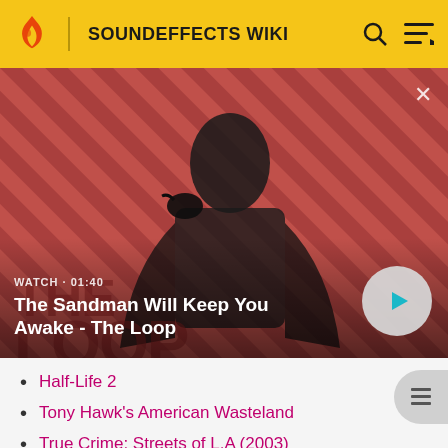SOUNDEFFECTS WIKI
[Figure (screenshot): Video thumbnail showing a man in dark clothing with a crow on his shoulder, standing against a red diagonal striped background. Title card reads 'The Sandman Will Keep You Awake - The Loop'. Watch time shown as 01:40 with a play button.]
WATCH · 01:40
The Sandman Will Keep You Awake - The Loop
Half-Life 2
Tony Hawk's American Wasteland
True Crime: Streets of L.A (2003)
Xbox 360: